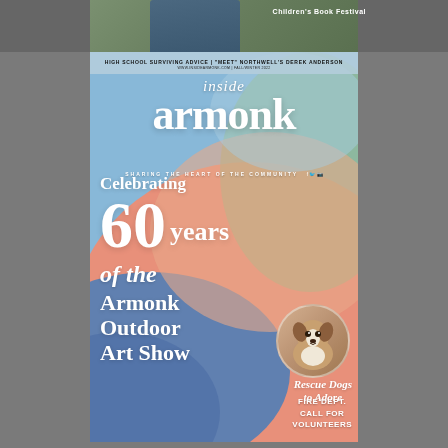[Figure (photo): Top strip showing partial photo of person with blurred background, with 'Children's Book Festival' text visible at upper right]
HIGH SCHOOL SURVIVING ADVICE | "MEET" NORTHWELL'S DEREK ANDERSON
inside armonk
SHARING THE HEART OF THE COMMUNITY
Celebrating 60 years of the Armonk Outdoor Art Show
[Figure (photo): Circular photo of a brown and white rescue dog (Jack Russell Terrier type) sitting on a tiled floor]
Rescue Dogs to Adore
FIRE DEPT. CALL FOR VOLUNTEERS